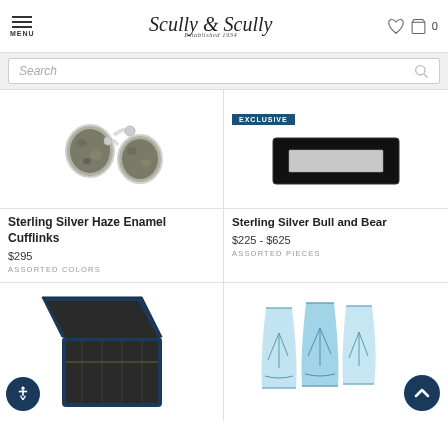MENU | Scully & Scully Established 1934 | [heart icon] [cart icon] 0
Search
[Figure (photo): Sterling Silver Haze Enamel Cufflinks - two oval cufflinks with grey/dark mottled enamel face and silver fittings]
Sterling Silver Haze Enamel Cufflinks
$295
ASSORTED COLORS
[Figure (photo): EXCLUSIVE badge followed by Sterling Silver Bull and Bear product - black rectangular case with silver nameplate]
EXCLUSIVE
Sterling Silver Bull and Bear
$225 - $625
ASSORTED PIECES
[Figure (photo): Dark blue open box/case - luxury storage box with navy exterior and interior visible]
[Figure (photo): Set of blue crystal glasses with sailboat etching design - three glasses arranged together]